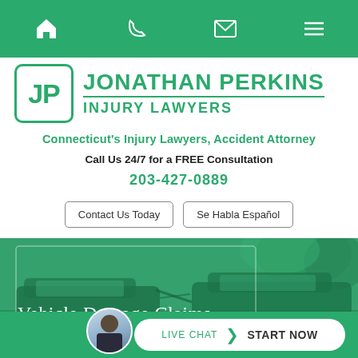[Figure (screenshot): Green navigation bar with home, phone, email, and menu icons]
[Figure (logo): JP logo box with Jonathan Perkins Injury Lawyers firm name in green]
Connecticut's Injury Lawyers, Accident Attorney
Call Us 24/7 for a FREE Consultation
203-427-0889
Contact Us Today
Se Habla Español
[Figure (photo): Vehicle damage accident scene with green tint overlay showing damaged cars]
Vehicle Damage Claims
LIVE CHAT  START NOW